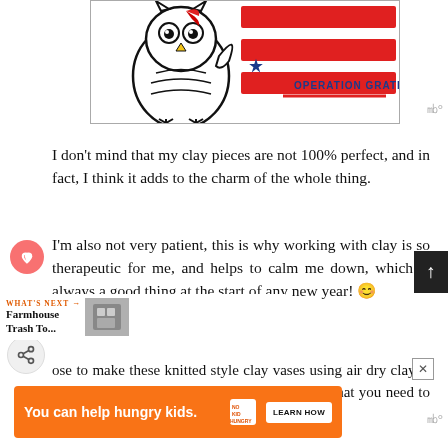[Figure (illustration): Cartoon owl drawing with red and white stripes background and Operation Gratitude logo in blue]
I don't mind that my clay pieces are not 100% perfect, and in fact, I think it adds to the charm of the whole thing.
I'm also not very patient, this is why working with clay is so therapeutic for me, and helps to calm me down, which is always a good thing at the start of any new year! 😊
ose to make these knitted style clay vases using air dry clay is super easy to work with, versus polymer clay that you need to bake for instance.
[Figure (infographic): Advertisement banner: You can help hungry kids. No Kid Hungry. Learn How button.]